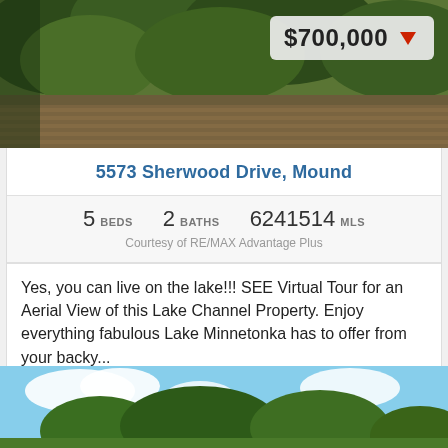[Figure (photo): Aerial/exterior photo of lakeside property with green trees and wooden deck]
5573 Sherwood Drive, Mound
5 BEDS   2 BATHS   6241514 MLS
Courtesy of RE/MAX Advantage Plus
Yes, you can live on the lake!!! SEE Virtual Tour for an Aerial View of this Lake Channel Property. Enjoy everything fabulous Lake Minnetonka has to offer from your backy...
[Figure (photo): Exterior photo of property with trees and blue sky]